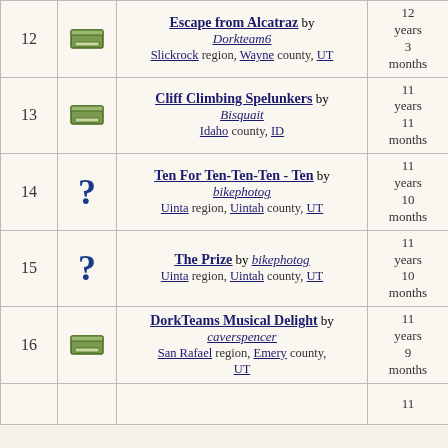| # | Icon | Name/Location | Age | Finds |
| --- | --- | --- | --- | --- |
| 12 | [cache icon] | Escape from Alcatraz by Dorkteam6 — Slickrock region, Wayne county, UT | 12 years 3 months | 1,233 |
| 13 | [cache icon] | Cliff Climbing Spelunkers by Bisquait — Idaho county, ID | 11 years 11 months | 1,199 |
| 14 | [? icon] | Ten For Ten-Ten-Ten - Ten by bikephotog — Uinta region, Uintah county, UT | 11 years 10 months | 1,190 |
| 15 | [? icon] | The Prize by bikephotog — Uinta region, Uintah county, UT | 11 years 10 months | 1,187 |
| 16 | [cache icon] | DorkTeams Musical Delight by caverspencer — San Rafael region, Emery county, UT | 11 years 9 months | 1,177 |
| 17 |  |  | 11 ... |  |